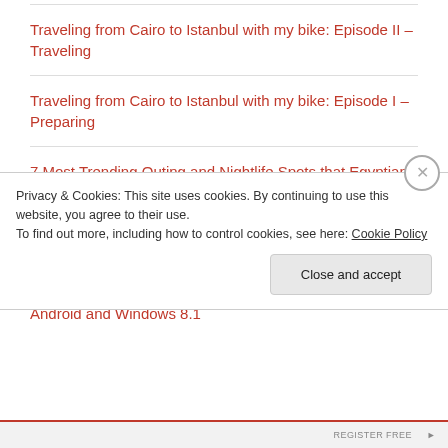Traveling from Cairo to Istanbul with my bike: Episode II – Traveling
Traveling from Cairo to Istanbul with my bike: Episode I – Preparing
7 Most Trending Outing and Nightlife Spots that Egyptians Love
Google Play & AdSense April's Fool
Egypt Yellow Pages Launches Mobile Apps For iPhone, Android and Windows 8.1
Privacy & Cookies: This site uses cookies. By continuing to use this website, you agree to their use. To find out more, including how to control cookies, see here: Cookie Policy
Close and accept